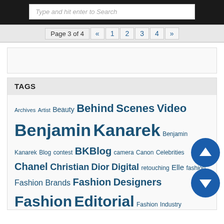Type and hit enter to Search
Page 3 of 4  «  1  2  3  4  »
[Figure (other): Advertisement/banner placeholder box]
TAGS
Archives  Artist  Beauty  Behind Scenes Video  Benjamin Kanarek  Benjamin Kanarek Blog  contest  BKBlog  camera  Canon  Celebrities  Chanel  Christian Dior  Digital retouching  Elle  fashion  Fashion Brands  Fashion Designers  Fashion Editorial  Fashion Industry  Fashion Magazines  Fashion Photographer  Fashion Photography  Fashion Photography Business  Fashion Week  Frédérique R  Hair stylist  Harpers BAZAAR  Haute Couture